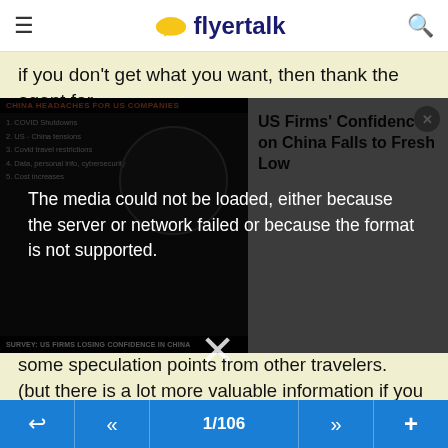flyertalk
if you don't get what you want, then thank the agent for
[Figure (screenshot): A video player overlay showing a media error message 'The media could not be loaded, either because the server or network failed or because the format is not supported.' on top of a news broadcast about 'US Firms' Confidence on China Falls to Fresh Low' and 'SURVEY: US FIRMS LOSING CONFIDENCE IN CHINA'. An X/close button is visible.]
some speculation points from other travelers.
(but there is a lot more valuable information if you can trawl back through the thread)
#753 CAI-LHR-DOH been offered as alternative for ex-CAI 4 days prior to 1st sector.
#772 KUL-DOH-LXR reroute to CAI and IST refused
1/106